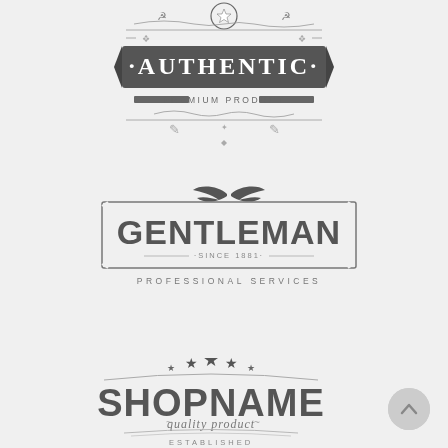[Figure (logo): Vintage badge logo with star on top, ornamental scrollwork border, dark banner reading AUTHENTIC in white serif letters, and PREMIUM PRODUCT text below with decorative lines]
[Figure (logo): Vintage gentleman logo with mustache icon on top, rectangular border frame, GENTLEMAN in large bold sans-serif, SINCE 1891 in small text with dots, PROFESSIONAL SERVICES in spaced uppercase below]
[Figure (logo): Vintage shop logo with three stars (center large, two smaller flanking), SHOPNAME in bold arched vintage type, quality product in italic script with tildes, ESTABLISHED text below, curved decorative lines]
[Figure (other): Light gray circular back-to-top button with upward chevron arrow in bottom right corner]